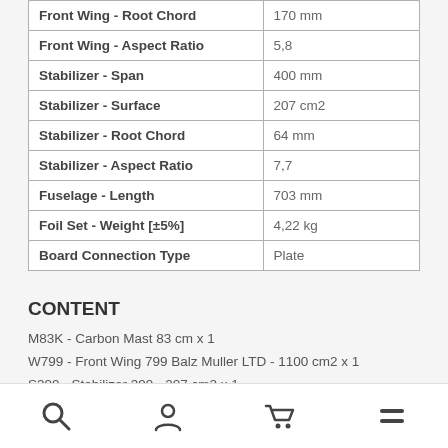| Property | Value |
| --- | --- |
| Front Wing - Root Chord | 170 mm |
| Front Wing - Aspect Ratio | 5,8 |
| Stabilizer - Span | 400 mm |
| Stabilizer - Surface | 207 cm2 |
| Stabilizer - Root Chord | 64 mm |
| Stabilizer - Aspect Ratio | 7,7 |
| Fuselage - Length | 703 mm |
| Foil Set - Weight [±5%] | 4,22 kg |
| Board Connection Type | Plate |
CONTENT
M83K - Carbon Mast 83 cm x 1
W799 - Front Wing 799 Balz Muller LTD - 1100 cm2 x 1
S399 - Stabilizer 399 - 207 cm2 x 1
Navigation bar with search, account, cart, and menu icons